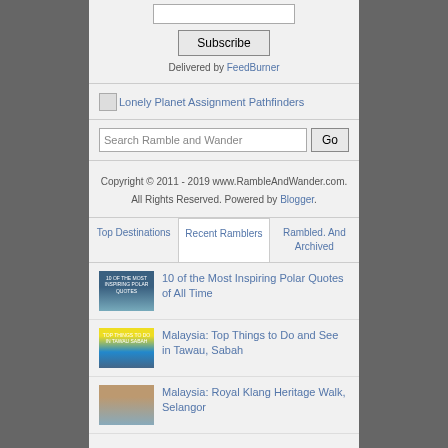[Figure (other): Email input field for subscription]
Subscribe
Delivered by FeedBurner
[Figure (other): Lonely Planet Assignment Pathfinders badge/image]
Search Ramble and Wander
Copyright © 2011 - 2019 www.RambleAndWander.com. All Rights Reserved. Powered by Blogger.
Top Destinations
Recent Ramblers
Rambled. And Archived
[Figure (photo): Thumbnail image for polar quotes article]
10 of the Most Inspiring Polar Quotes of All Time
[Figure (photo): Thumbnail image for Tawau Sabah article]
Malaysia: Top Things to Do and See in Tawau, Sabah
[Figure (photo): Thumbnail image for Royal Klang Heritage Walk article]
Malaysia: Royal Klang Heritage Walk, Selangor